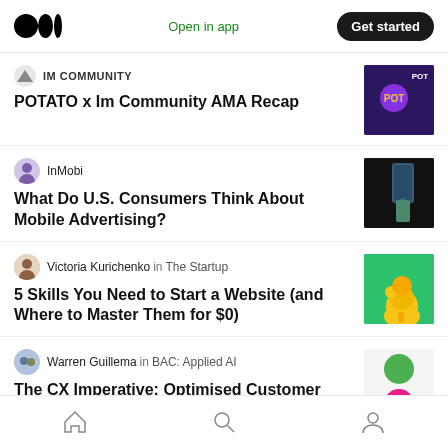Medium logo | Open in app | Get started
IM COMMUNITY — POTATO x Im Community AMA Recap
InMobi — What Do U.S. Consumers Think About Mobile Advertising?
Victoria Kurichenko in The Startup — 5 Skills You Need to Start a Website (and Where to Master Them for $0)
Warren Guillema in BAC: Applied AI — The CX Imperative: Optimised Customer
Home | Search | Profile